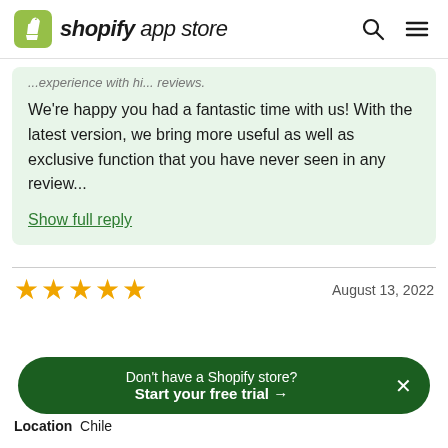shopify app store
...experience with hi... reviews.
We're happy you had a fantastic time with us! With the latest version, we bring more useful as well as exclusive function that you have never seen in any review...
Show full reply
★★★★★  August 13, 2022
Location  Chile
Don't have a Shopify store?
Start your free trial →